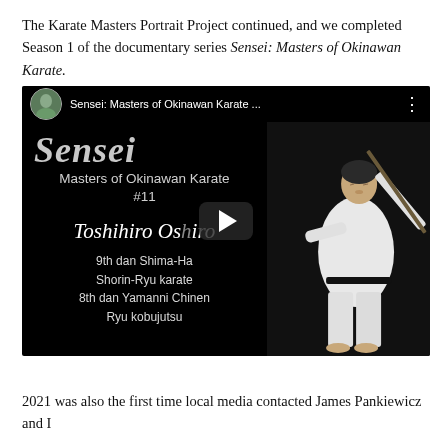The Karate Masters Portrait Project continued, and we completed Season 1 of the documentary series Sensei: Masters of Okinawan Karate.
[Figure (screenshot): Video thumbnail for 'Sensei: Masters of Okinawan Karate #11' featuring Toshihiro Oshiro, 9th dan Shima-Ha Shorin-Ryu karate, 8th dan Yamanni Chinen Ryu kobujutsu, with a play button overlay and a karate master in white gi holding a weapon on the right side.]
2021 was also the first time local media contacted James Pankiewicz and I